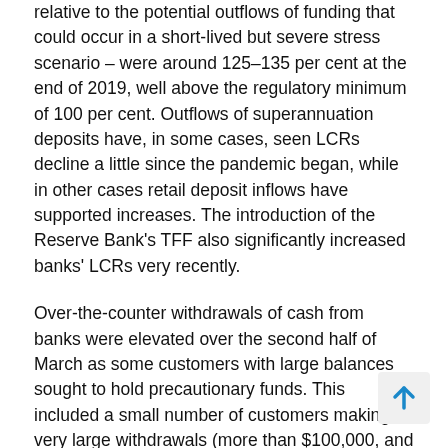relative to the potential outflows of funding that could occur in a short-lived but severe stress scenario – were around 125–135 per cent at the end of 2019, well above the regulatory minimum of 100 per cent. Outflows of superannuation deposits have, in some cases, seen LCRs decline a little since the pandemic began, while in other cases retail deposit inflows have supported increases. The introduction of the Reserve Bank's TFF also significantly increased banks' LCRs very recently.
Over-the-counter withdrawals of cash from banks were elevated over the second half of March as some customers with large balances sought to hold precautionary funds. This included a small number of customers making very large withdrawals (more than $100,000, and in some cases into the millions of dollars). The Reserve Bank worked closely with the large banks and cash in transit companies to ensure